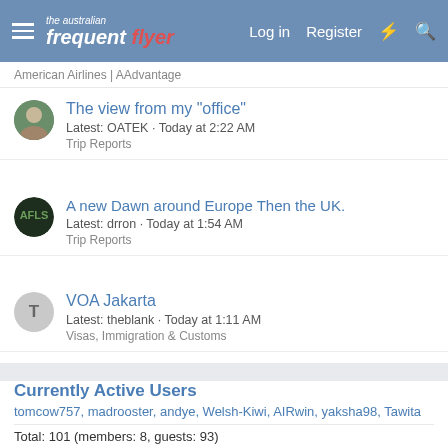the australian frequent flyer | Log in | Register
American Airlines | AAdvantage
The view from my "office"
Latest: OATEK · Today at 2:22 AM
Trip Reports
A new Dawn around Europe Then the UK.
Latest: drron · Today at 1:54 AM
Trip Reports
VOA Jakarta
Latest: theblank · Today at 1:11 AM
Visas, Immigration & Customs
Currently Active Users
tomcow757, madrooster, andye, Welsh-Kiwi, AIRwin, yaksha98, Tawita
Total: 101 (members: 8, guests: 93)
[Figure (screenshot): BitLife - Life Simulator advertisement banner at bottom of page]